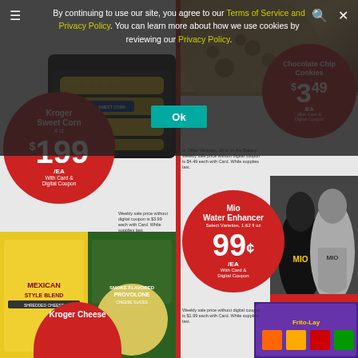[Figure (screenshot): Grocery store ad screenshot with cookie consent overlay. Left column shows Kroger Sweet Corn 4ct for $1.99/EA with card & digital coupon. Right column shows Fresh Baked Chocolate Chip Cookies $3.49/EA and Mio Water Enhancer 99¢/EA. Bottom shows Kroger Cheese products.]
By continuing to use our site, you agree to our Terms of Service and Privacy Policy. You can learn more about how we use cookies by reviewing our Privacy Policy.
Ok
Kroger Sweet Corn 4 ct $1.99 /EA With Card & Digital Coupon
Weekly sale price without digital coupon is $3.99 each with Card. While supplies last.
Fresh Baked Chocolate Chip Cookies $3.49 /EA With Card & Digital Coupon
or Other Varieties, 16 ct, In the Bakery Weekly sale price without digital coupon is $4.49 each with Card. While supplies last.
Mio Water Enhancer Select Varieties, 1.62 fl oz 99¢ /EA With Card & Digital Coupon
Weekly sale price without digital coupon is $1.99 each with Card. While supplies last.
Kroger Cheese